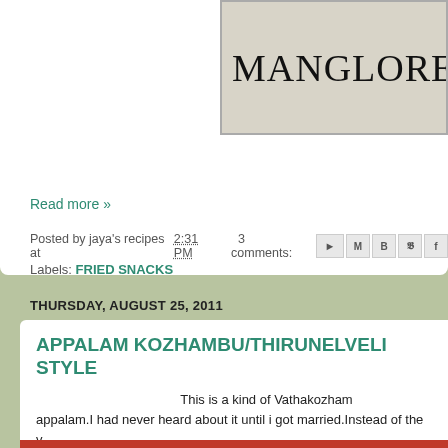[Figure (screenshot): Partial blog header banner showing 'MANGLORE' text on a gray background]
Read more »
Posted by jaya's recipes at 2:31 PM   3 comments:
Labels: FRIED SNACKS
THURSDAY, AUGUST 25, 2011
APPALAM KOZHAMBU/THIRUNELVELI STYLE
This is a kind of Vathakozhambu made with appalam.I had never heard about it until i got married.Instead of the v... along with mustard seeds,tur dhal and red chillies and most importantly... water and the powders.